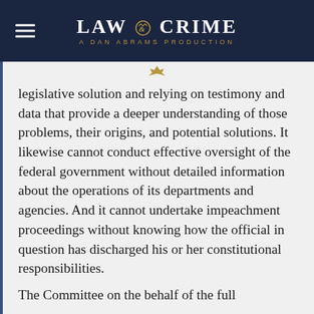LAW & CRIME — A DAN ABRAMS PRODUCTION
legislative solution and relying on testimony and data that provide a deeper understanding of those problems, their origins, and potential solutions. It likewise cannot conduct effective oversight of the federal government without detailed information about the operations of its departments and agencies. And it cannot undertake impeachment proceedings without knowing how the official in question has discharged his or her constitutional responsibilities.
The Committee on the behalf of the full...